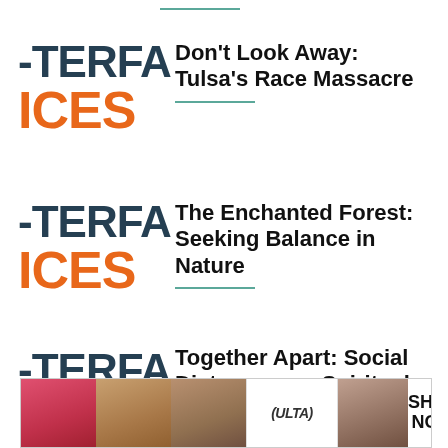[Figure (logo): TERFA / ICES logo (partial, dark teal and orange) for article 1]
Don’t Look Away: Tulsa’s Race Massacre
[Figure (logo): TERFA / ICES logo (partial, dark teal and orange) for article 2]
The Enchanted Forest: Seeking Balance in Nature
[Figure (logo): TERFA logo (partial, dark teal) with chevron for article 3]
Together Apart: Social Distance as a Spiritual Practice
[Figure (photo): ULTA Beauty advertisement banner with makeup/beauty photos and SHOP NOW call to action]